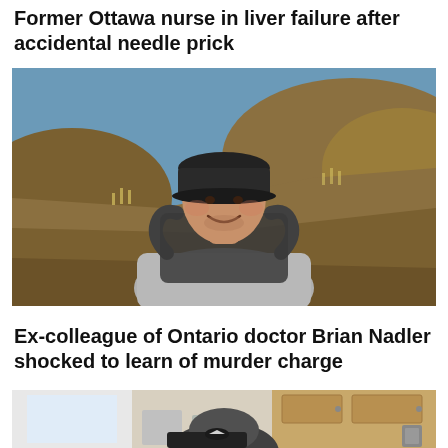Former Ottawa nurse in liver failure after accidental needle prick
[Figure (photo): Man wearing a black cap and grey t-shirt with a backpack, smiling outdoors against a backdrop of rolling hills with dry grass and blue sky]
Ex-colleague of Ontario doctor Brian Nadler shocked to learn of murder charge
[Figure (photo): Partial view of a person in a dark cap in what appears to be a kitchen or medical setting with wooden cabinets]